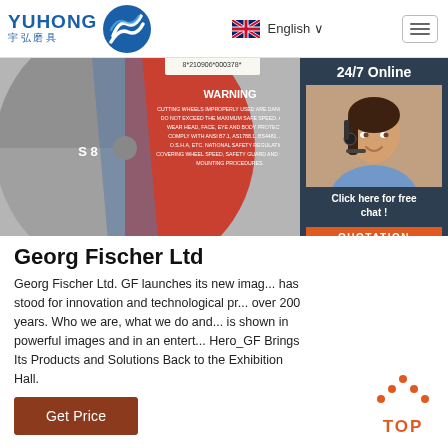YUHONG 宇弘磨具 | English | Navigation menu
[Figure (photo): Product image of a cutting wheel/abrasive disc with WARNING label visible. Red and grey disc with text warning about safe speed, head/face/eye and body protection, compliance with standards. Shows barcode area.]
[Figure (photo): 24/7 Online customer service panel showing a female agent with headset, with 'Click here for free chat!' and 'QUOTATION' button]
Georg Fischer Ltd
Georg Fischer Ltd. GF launches its new image has stood for innovation and technological progress over 200 years. Who we are, what we do and is shown in powerful images and in an entertaining Hero_GF Brings Its Products and Solutions Back to the Exhibition Hall.
Get Price
[Figure (illustration): TOP button icon with orange dots forming upward arrow shape and 'TOP' text in orange]